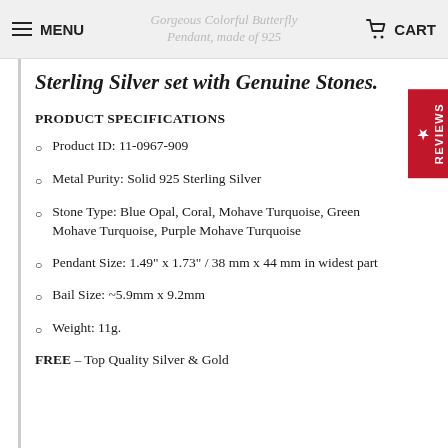MENU | Gorgeous Colorful Butterfly Pendant, made of 925 | CART
Sterling Silver set with Genuine Stones.
PRODUCT SPECIFICATIONS
Product ID: 11-0967-909
Metal Purity: Solid 925 Sterling Silver
Stone Type: Blue Opal, Coral, Mohave Turquoise, Green Mohave Turquoise, Purple Mohave Turquoise
Pendant Size: 1.49" x 1.73" / 38 mm x 44 mm in widest part
Bail Size: ~5.9mm x 9.2mm
Weight: 11g.
FREE – Top Quality Silver & Gold